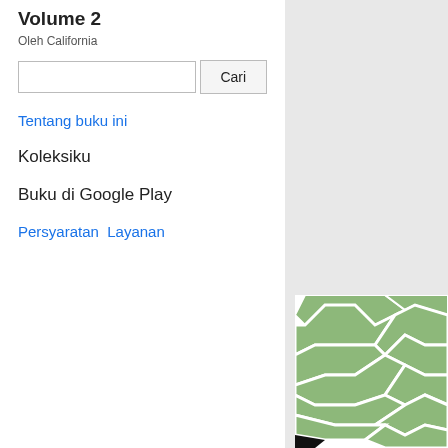Volume 2
Oleh California
Cari
Tentang buku ini
Koleksiku
Buku di Google Play
Persyaratan  Layanan
[Figure (illustration): Green geometric pattern on white background, decorative book cover artwork with interlocking angular shapes in sage green]